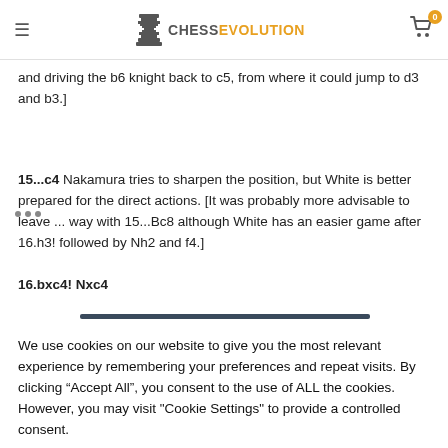Chess Evolution
and driving the b6 knight back to c5, from where it could jump to d3 and b3.]
15...c4 Nakamura tries to sharpen the position, but White is better prepared for the direct actions. [It was probably more advisable to leave ... way with 15...Bc8 although White has an easier game after 16.h3! followed by Nh2 and f4.]
16.bxc4! Nxc4
We use cookies on our website to give you the most relevant experience by remembering your preferences and repeat visits. By clicking “Accept All”, you consent to the use of ALL the cookies. However, you may visit "Cookie Settings" to provide a controlled consent.